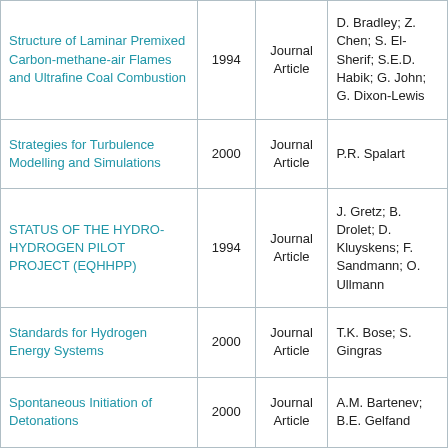| Title | Year | Type | Authors |
| --- | --- | --- | --- |
| Structure of Laminar Premixed Carbon-methane-air Flames and Ultrafine Coal Combustion | 1994 | Journal Article | D. Bradley; Z. Chen; S. El-Sherif; S.E.D. Habik; G. John; G. Dixon-Lewis |
| Strategies for Turbulence Modelling and Simulations | 2000 | Journal Article | P.R. Spalart |
| STATUS OF THE HYDRO-HYDROGEN PILOT PROJECT (EQHHPP) | 1994 | Journal Article | J. Gretz; B. Drolet; D. Kluyskens; F. Sandmann; O. Ullmann |
| Standards for Hydrogen Energy Systems | 2000 | Journal Article | T.K. Bose; S. Gingras |
| Spontaneous Initiation of Detonations | 2000 | Journal Article | A.M. Bartenev; B.E. Gelfand |